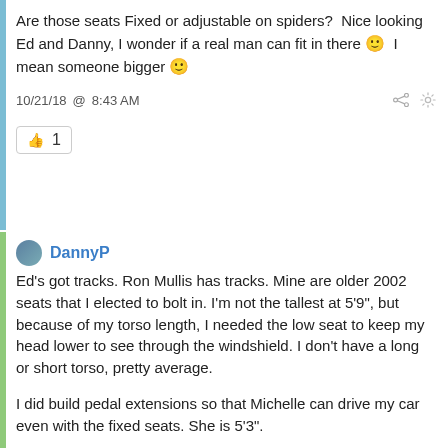Are those seats Fixed or adjustable on spiders?  Nice looking Ed and Danny, I wonder if a real man can fit in there 🙂  I mean someone bigger 🙂
10/21/18 @ 8:43 AM
👍 1
DannyP
Ed's got tracks. Ron Mullis has tracks. Mine are older 2002 seats that I elected to bolt in. I'm not the tallest at 5'9", but because of my torso length, I needed the low seat to keep my head lower to see through the windshield. I don't have a long or short torso, pretty average.
I did build pedal extensions so that Michelle can drive my car even with the fixed seats. She is 5'3".